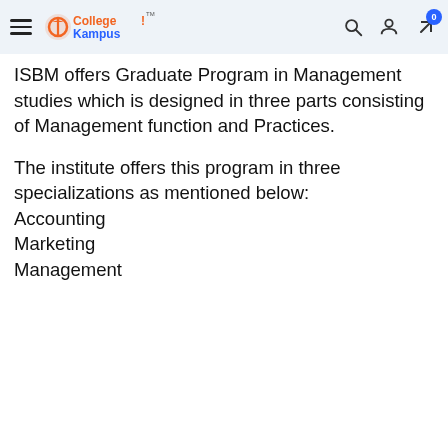CollegeKampus — CHOOSE YOUR BEST EDUCATION DESTINATION! [search, account, share icons, cart badge: 0]
ISBM offers Graduate Program in Management studies which is designed in three parts consisting of Management function and Practices.
The institute offers this program in three specializations as mentioned below:
Accounting
Marketing
Management